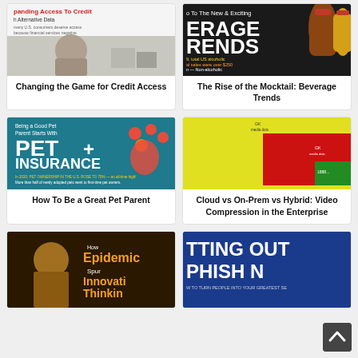[Figure (screenshot): Thumbnail image for 'Changing the Game for Credit Access' - shows text about expanding access to credit with alternative data, with a person sitting in background]
Changing the Game for Credit Access
[Figure (screenshot): Thumbnail image for 'The Rise of the Mocktail: Beverage Trends' - dark background with beverage bottles and text about beverage trends]
The Rise of the Mocktail: Beverage Trends
[Figure (screenshot): Thumbnail image for 'How To Be a Great Pet Parent' - teal background with paw prints and text about Pet Insurance]
How To Be a Great Pet Parent
[Figure (screenshot): Thumbnail image for 'Cloud vs On-Prem vs Hybrid: Video Compression in the Enterprise' - yellow background with colored rectangles (red, green)]
Cloud vs On-Prem vs Hybrid: Video Compression in the Enterprise
[Figure (screenshot): Thumbnail image for epidemic innovation article - dark background with person and orange text about How Epidemics Spur Innovative Thinking]
How Epidemics S...
[Figure (screenshot): Thumbnail image for phishing article - blue background with white bold text 'TTING OUT OF THE PHISH N' and subtitle text]
How To Arm Your H...